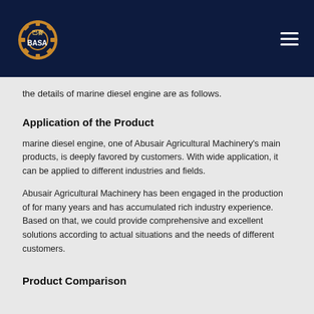BASA logo and navigation header
the details of marine diesel engine are as follows.
Application of the Product
marine diesel engine, one of Abusair Agricultural Machinery's main products, is deeply favored by customers. With wide application, it can be applied to different industries and fields.
Abusair Agricultural Machinery has been engaged in the production of for many years and has accumulated rich industry experience. Based on that, we could provide comprehensive and excellent solutions according to actual situations and the needs of different customers.
Product Comparison